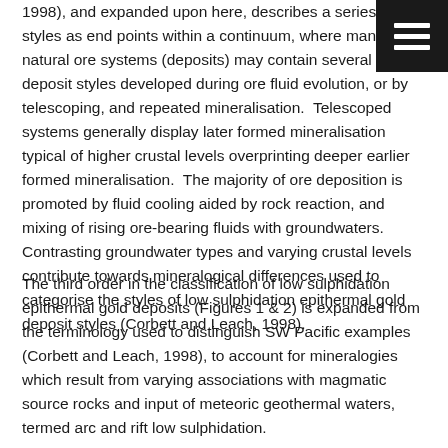1998), and expanded upon here, describes a series of styles as end points within a continuum, where many natural ore systems (deposits) may contain several of the deposit styles developed during ore fluid evolution, or by telescoping, and repeated mineralisation.  Telescoped systems generally display later formed mineralisation typical of higher crustal levels overprinting deeper earlier formed mineralisation.  The majority of ore deposition is promoted by fluid cooling aided by rock reaction, and mixing of rising ore-bearing fluids with groundwaters.  Contrasting groundwater types and varying crustal levels contribute towards mineralogical differences used to categorise the styles of low sulphidation epithermal gold deposit styles (Corbett and Leach, 1998).
The third order in the classification of low sulphidation epithermal gold deposits (Figures 1 & 2) is expanded from the terminology used to distinguish SW Pacific examples (Corbett and Leach, 1998), to account for mineralogies which result from varying associations with magmatic source rocks and input of meteoric geothermal waters, termed arc and rift low sulphidation.